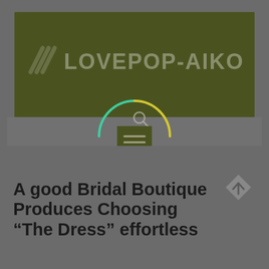[Figure (logo): LOVEPOP-AIKO website header with dark olive green banner, diagonal stripe logo icon, and site name in gray text]
[Figure (infographic): Circular navigation menu with teal, yellow, and pink/red arc segments around a green square hamburger menu button, with a search magnifier icon above]
A good Bridal Boutique Produces Choosing “The Dress” effortless